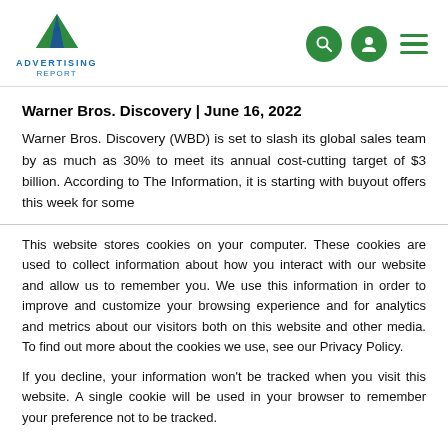ADVERTISING REPORT
Warner Bros. Discovery | June 16, 2022
Warner Bros. Discovery (WBD) is set to slash its global sales team by as much as 30% to meet its annual cost-cutting target of $3 billion. According to The Information, it is starting with buyout offers this week for some
This website stores cookies on your computer. These cookies are used to collect information about how you interact with our website and allow us to remember you. We use this information in order to improve and customize your browsing experience and for analytics and metrics about our visitors both on this website and other media. To find out more about the cookies we use, see our Privacy Policy.
If you decline, your information won't be tracked when you visit this website. A single cookie will be used in your browser to remember your preference not to be tracked.